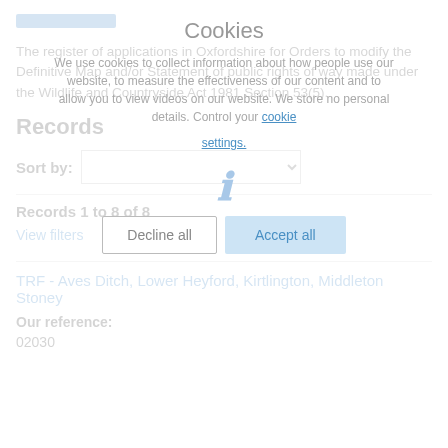The register of applications in Oxfordshire for Orders to modify the Definitive Map and/or Statement of public rights of way made under the Wildlife and Countryside Act 1981 Section 53(5).
Records
Sort by:
Records 1 to 8 of 8
View filters
TRF - Aves Ditch, Lower Heyford, Kirtlington, Middleton Stoney
Our reference:
02030